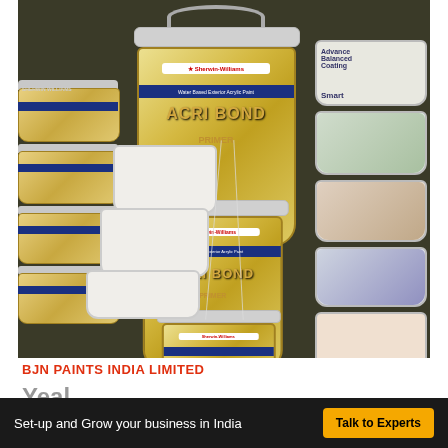[Figure (photo): Stacked Sherwin-Williams Acri Bond paint buckets/containers in yellow and white, arranged in rows on a shelf or floor in a store/warehouse. Multiple sizes visible. Other paint brands visible on the right side.]
BJN PAINTS INDIA LIMITED
Yeal
Looking to setup or expand your business in India?
Set-up and Grow your business in India
Talk to Experts